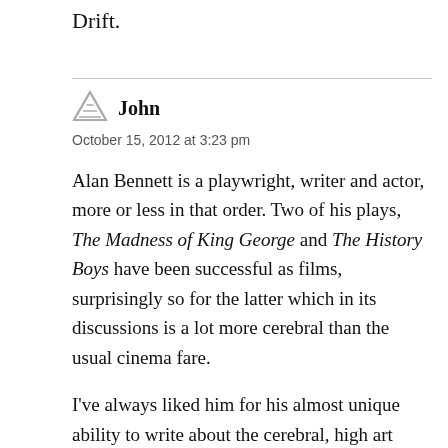Drift.
John
October 15, 2012 at 3:23 pm
Alan Bennett is a playwright, writer and actor, more or less in that order. Two of his plays, The Madness of King George and The History Boys have been successful as films, surprisingly so for the latter which in its discussions is a lot more cerebral than the usual cinema fare.
I’ve always liked him for his almost unique ability to write about the cerebral, high art stuff–Proust, Kafka, etc–whilst also delving